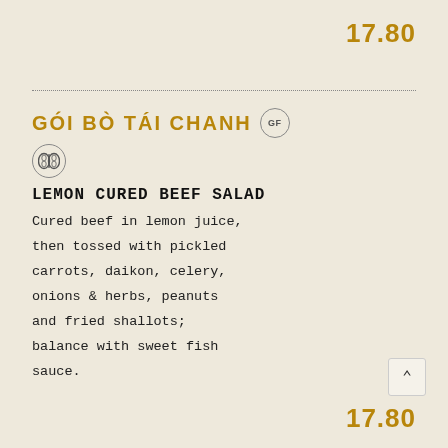17.80
GÓI BÒ TÁI CHANH
LEMON CURED BEEF SALAD
Cured beef in lemon juice, then tossed with pickled carrots, daikon, celery, onions & herbs, peanuts and fried shallots; balance with sweet fish sauce.
17.80